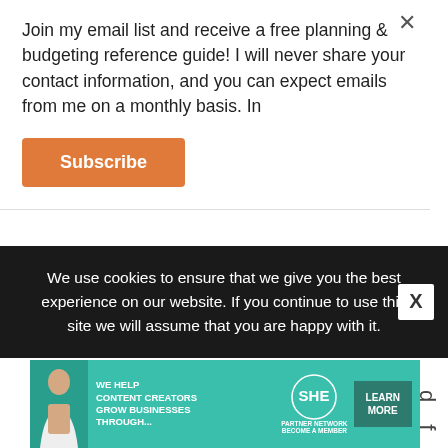Join my email list and receive a free planning & budgeting reference guide! I will never share your contact information, and you can expect emails from me on a monthly basis. In
[Figure (other): Subscribe button with orange background]
d f o r h i m
We use cookies to ensure that we give you the best experience on our website. If you continue to use this site we will assume that you are happy with it.
[Figure (infographic): SHE Partner Network advertisement banner: WE HELP CONTENT CREATORS GROW BUSINESSES THROUGH... LEARN MORE BECOME A MEMBER]